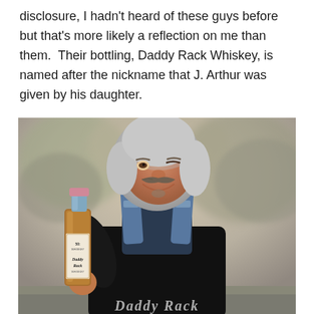disclosure, I hadn't heard of these guys before but that's more likely a reflection on me than them. Their bottling, Daddy Rack Whiskey, is named after the nickname that J. Arthur was given by his daughter.
[Figure (photo): An older man with silver/grey hair and a mustache, smiling and holding a bottle of Daddy Rack Whiskey. He is wearing a black t-shirt and denim overalls. The background shows blurred trees in a natural outdoor setting.]